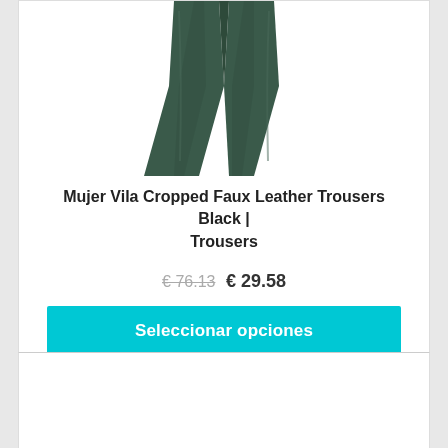[Figure (photo): Dark green wide-leg cropped faux leather trousers shown from waist down against white background]
Mujer Vila Cropped Faux Leather Trousers Black | Trousers
€76.13  € 29.58
Seleccionar opciones
Sale!